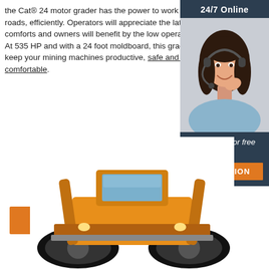the Cat® 24 motor grader has the power to work wide haul roads, efficiently. Operators will appreciate the latest cab comforts and owners will benefit by the low operating costs. At 535 HP and with a 24 foot moldboard, this grader will keep your mining machines productive, safe and operators comfortable.
[Figure (infographic): Sidebar widget with dark navy background. Top section shows '24/7 Online' text. Middle section shows a photo of a smiling female customer service representative with a headset. Bottom section shows 'Click here for free chat!' text and an orange 'QUOTATION' button.]
Get Price
[Figure (photo): Front view of a large yellow Cat motor grader/loader machine with big black tires, photographed from a low angle against a white background.]